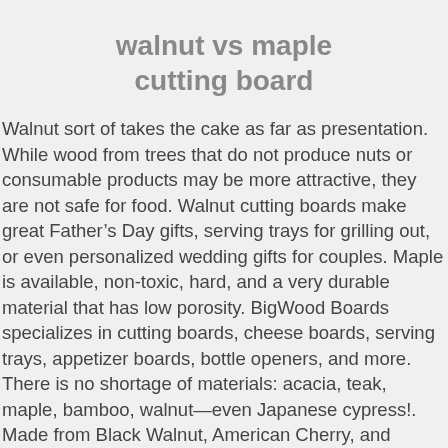walnut vs maple cutting board
Walnut sort of takes the cake as far as presentation. While wood from trees that do not produce nuts or consumable products may be more attractive, they are not safe for food. Walnut cutting boards make great Fatherâs Day gifts, serving trays for grilling out, or even personalized wedding gifts for couples. Maple is available, non-toxic, hard, and a very durable material that has low porosity. BigWood Boards specializes in cutting boards, cheese boards, serving trays, appetizer boards, bottle openers, and more. There is no shortage of materials: acacia, teak, maple, bamboo, walnut—even Japanese cypress!. Made from Black Walnut, American Cherry, and Canadian Maple hardwood, these Cutting Boards are built to last, whether being used for slicing a smoked brisket, carving the Thanksgiving turkey, or chopping veggies for your daily greens. The English translation for...